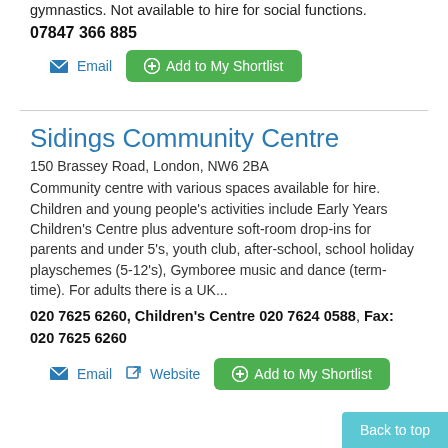gymnastics. Not available to hire for social functions.
07847 366 885
Email
Add to My Shortlist
Sidings Community Centre
150 Brassey Road, London, NW6 2BA
Community centre with various spaces available for hire. Children and young people's activities include Early Years Children's Centre plus adventure soft-room drop-ins for parents and under 5's, youth club, after-school, school holiday playschemes (5-12's), Gymboree music and dance (term-time). For adults there is a UK...
020 7625 6260, Children's Centre 020 7624 0588, Fax: 020 7625 6260
Email
Website
Add to My Shortlist
Back to top